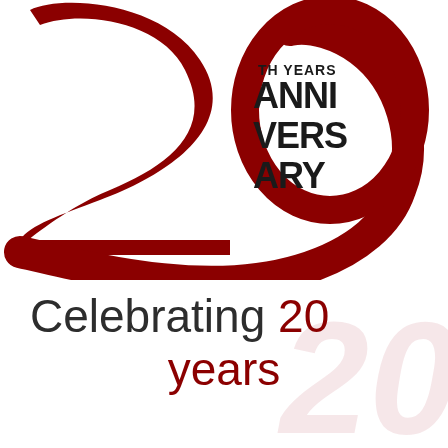[Figure (logo): 20th Anniversary logo with large red stylized '20' numeral and black stacked text reading 'TH YEARS ANNIVERSARY']
Celebrating 20 years